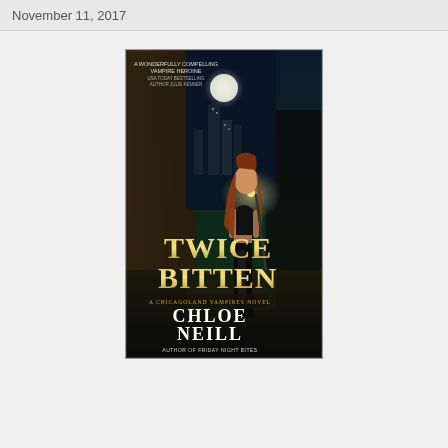November 11, 2017
[Figure (illustration): Book cover of 'Twice Bitten: A Chicagoland Vampires Novel' by Chloe Neill. Shows a young woman with long auburn hair wearing a black leather outfit walking in a dark alley with city skyline and moon in background. Gold title text 'Twice Bitten' and white author name 'Chloe Neill'. Blurb at top: 'A wonderfully compelling vampire heroine - USA Today Bestselling Author Julie Kenner'. Subtitle 'Author of Friday Night Bites' at bottom.]